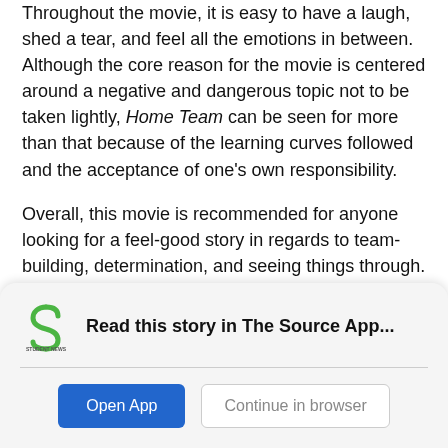Throughout the movie, it is easy to have a laugh, shed a tear, and feel all the emotions in between. Although the core reason for the movie is centered around a negative and dangerous topic not to be taken lightly, Home Team can be seen for more than that because of the learning curves followed and the acceptance of one's own responsibility.

Overall, this movie is recommended for anyone looking for a feel-good story in regards to team-building, determination, and seeing things through.
[Figure (logo): Student News Source logo — a green stylized S shape above the text STUDENT NEWS SOURCE]
Read this story in The Source App...
Open App   Continue in browser